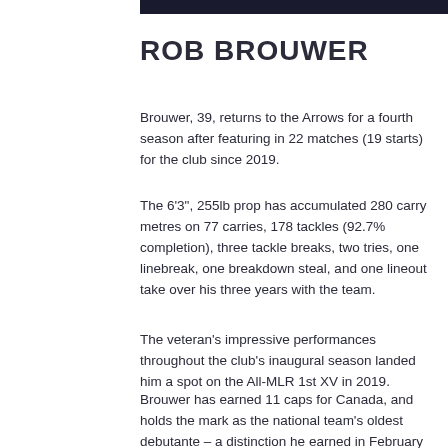ROB BROUWER
Brouwer, 39, returns to the Arrows for a fourth season after featuring in 22 matches (19 starts) for the club since 2019.
The 6’3”, 255lb prop has accumulated 280 carry metres on 77 carries, 178 tackles (92.7% completion), three tackle breaks, two tries, one linebreak, one breakdown steal, and one lineout take over his three years with the team.
The veteran’s impressive performances throughout the club’s inaugural season landed him a spot on the All-MLR 1st XV in 2019.
Brouwer has earned 11 caps for Canada, and holds the mark as the national team’s oldest debutante – a distinction he earned in February 2016 when he stepped on the field against Brazil at the age of 33 years, 72 days.